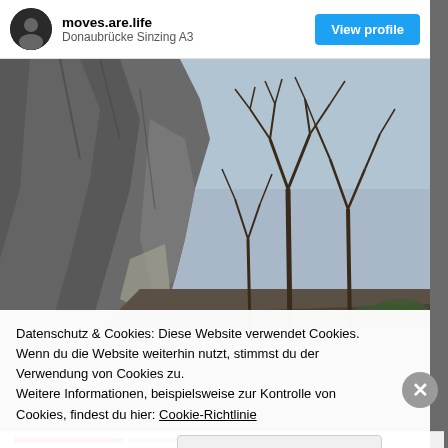moves.are.life
Donaubrücke Sinzing A3
[Figure (photo): Outdoor photo showing a rocky cliff face on the left and bare winter trees against a pale blue sky]
Datenschutz & Cookies: Diese Website verwendet Cookies. Wenn du die Website weiterhin nutzt, stimmst du der Verwendung von Cookies zu.
Weitere Informationen, beispielsweise zur Kontrolle von Cookies, findest du hier: Cookie-Richtlinie
Schließen und Akzeptieren